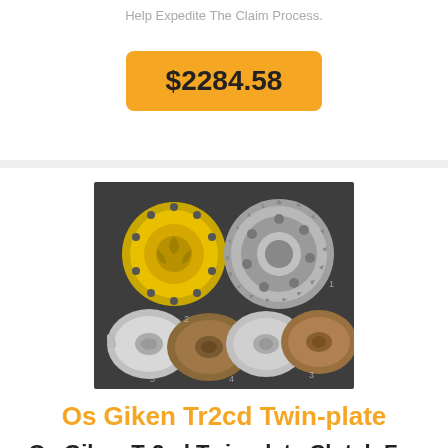Help Expedite The Claim Process.
$2284.58
[Figure (photo): Os Giken Tr2cd Twin-plate clutch kit components laid out on dark background: yellow pressure plate, silver flywheel housing, and three friction/separator discs]
Os Giken Tr2cd Twin-plate
Os Giken Tr2cd Twin-plate Clutch For